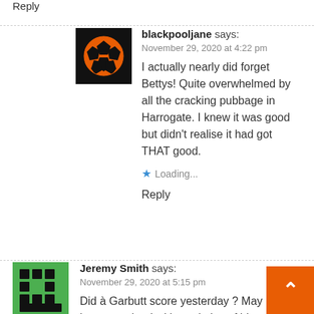Reply
[Figure (illustration): Black and orange soccer ball avatar icon for user blackpooljane]
blackpooljane says:
November 29, 2020 at 4:22 pm
I actually nearly did forget Bettys! Quite overwhelmed by all the cracking pubbage in Harrogate. I knew it was good but didn't realise it had got THAT good.
Loading...
Reply
[Figure (illustration): Green pixel/grid pattern avatar icon for user Jeremy Smith]
Jeremy Smith says:
November 29, 2020 at 5:15 pm
Did à Garbutt score yesterday ? May ha been at school with a relative of him… In Harrogate ironically… Betty's always worth…